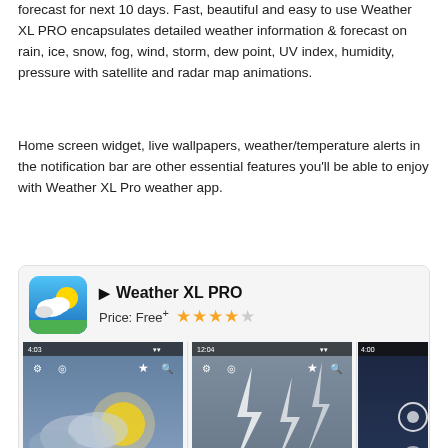forecast for next 10 days. Fast, beautiful and easy to use Weather XL PRO encapsulates detailed weather information & forecast on rain, ice, snow, fog, wind, storm, dew point, UV index, humidity, pressure with satellite and radar map animations.
Home screen widget, live wallpapers, weather/temperature alerts in the notification bar are other essential features you’ll be able to enjoy with Weather XL Pro weather app.
[Figure (screenshot): App store card for Weather XL PRO showing app icon, price (Free+), 4.5 star rating, and three screenshots of the app showing weather conditions (77°F New York US, 82°F New York US) with stormy and sunny backgrounds.]